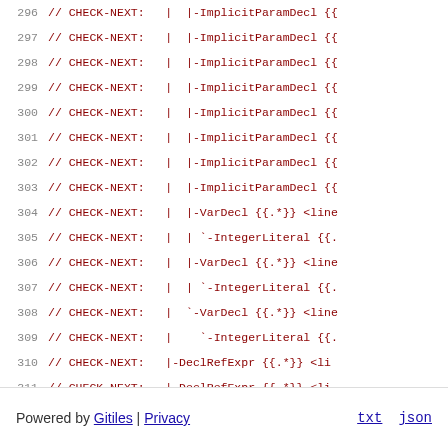296 // CHECK-NEXT:   |  |-ImplicitParamDecl {{
297 // CHECK-NEXT:   |  |-ImplicitParamDecl {{
298 // CHECK-NEXT:   |  |-ImplicitParamDecl {{
299 // CHECK-NEXT:   |  |-ImplicitParamDecl {{
300 // CHECK-NEXT:   |  |-ImplicitParamDecl {{
301 // CHECK-NEXT:   |  |-ImplicitParamDecl {{
302 // CHECK-NEXT:   |  |-ImplicitParamDecl {{
303 // CHECK-NEXT:   |  |-ImplicitParamDecl {{
304 // CHECK-NEXT:   |  |-VarDecl {{.*}} <line
305 // CHECK-NEXT:   |  | `-IntegerLiteral {{.
306 // CHECK-NEXT:   |  |-VarDecl {{.*}} <line
307 // CHECK-NEXT:   |  | `-IntegerLiteral {{.
308 // CHECK-NEXT:   |  `-VarDecl {{.*}} <line
309 // CHECK-NEXT:   |    `-IntegerLiteral {{.
310 // CHECK-NEXT:   |-DeclRefExpr {{.*}} <li
311 // CHECK-NEXT:   |-DeclRefExpr {{.*}} <li
312 // CHECK-NEXT:   `-DeclRefExpr {{.*}} <li
Powered by Gitiles | Privacy    txt  json